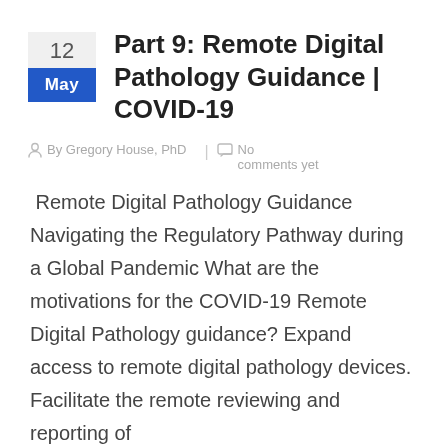Part 9: Remote Digital Pathology Guidance | COVID-19
By Gregory House, PhD  |  No comments yet
Remote Digital Pathology Guidance Navigating the Regulatory Pathway during a Global Pandemic What are the motivations for the COVID-19 Remote Digital Pathology guidance? Expand access to remote digital pathology devices. Facilitate the remote reviewing and reporting of